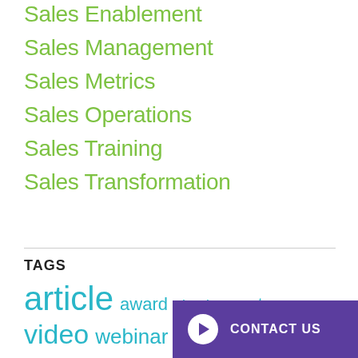Sales Enablement
Sales Management
Sales Metrics
Sales Operations
Sales Training
Sales Transformation
TAGS
article award ebook event video webinar
CONTACT US